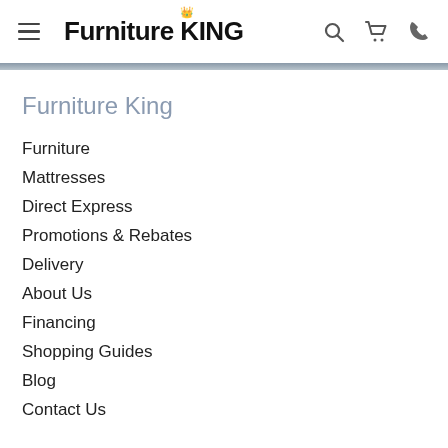Furniture King - navigation header with hamburger menu, logo, search, cart, and phone icons
Furniture King
Furniture
Mattresses
Direct Express
Promotions & Rebates
Delivery
About Us
Financing
Shopping Guides
Blog
Contact Us